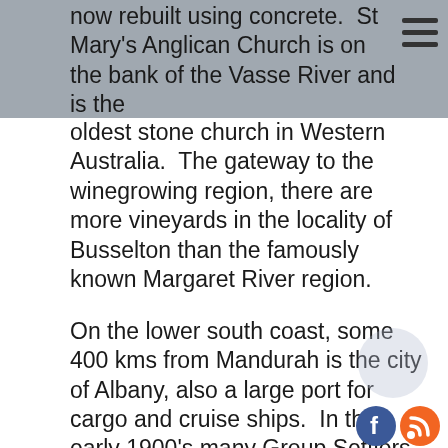hemisphere (its kilometre 33), once made of timber, now rebuilt using concrete.  St Mary's Anglican Church is on the bank of the Vasse River and is the oldest stone church in Western Australia.  The gateway to the winegrowing region, there are more vineyards in the locality of Busselton than the famously known Margaret River region.
On the lower south coast, some 400 kms from Mandurah is the city of Albany, also a large port for cargo and cruise ships.  In the early 1900's many Group Settlers disembarked from their ships in Albany and made their way by train to Northcliffe, Pemberton and Busselton.  St John's Anglican Church is located in the main street; also built of stone it overlooks the inland water.  Albany once famous for whaling now houses a museum at the former whaling station.  Many ships set sail in 1914 to go to the Great War from Albany heading...